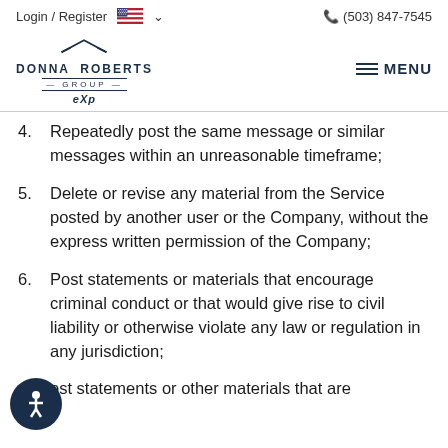Login / Register  (503) 847-7545
[Figure (logo): Donna Roberts Group eXp Realty logo with house icon]
4. Repeatedly post the same message or similar messages within an unreasonable timeframe;
5. Delete or revise any material from the Service posted by another user or the Company, without the express written permission of the Company;
6. Post statements or materials that encourage criminal conduct or that would give rise to civil liability or otherwise violate any law or regulation in any jurisdiction;
7. Post statements or other materials that are ...